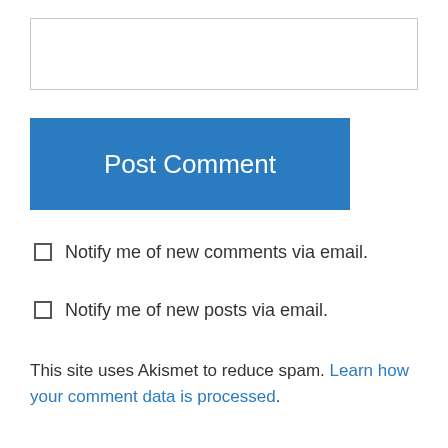[Figure (other): Empty text input box (comment form field)]
Post Comment
Notify me of new comments via email.
Notify me of new posts via email.
This site uses Akismet to reduce spam. Learn how your comment data is processed.
[Figure (other): User avatar icon - green circular icon with dot pattern]
Danielle on August 29, 2010 at 5:28 am
I've never heard of this author/book before, but I've requested it at my library. I don't always do well with stories about mistreatment of animals,